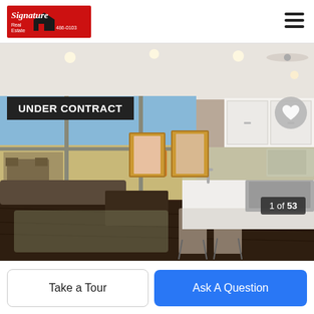[Figure (logo): Signature Real Estate logo with red background and house icon, phone number 486-0103]
[Figure (photo): Interior photo of a modern open-plan kitchen and living room with ocean view through floor-to-ceiling windows. Kitchen has white cabinets and quartz countertop island with bar stools. Living room has dark wood floors, area rug, coffee table, and seating. Two gold-framed mirrors on back wall.]
UNDER CONTRACT
1 of 53
Take a Tour
Ask A Question